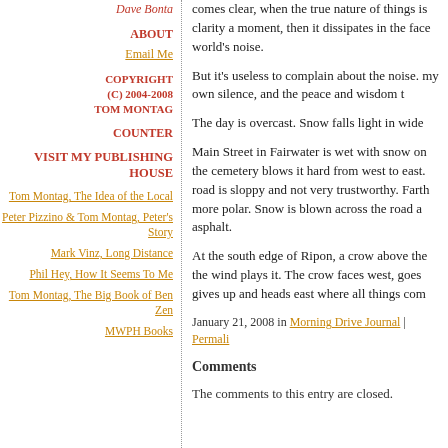Dave Bonta
ABOUT
Email Me
COPYRIGHT (C) 2004-2008 TOM MONTAG
COUNTER
VISIT MY PUBLISHING HOUSE
Tom Montag, The Idea of the Local
Peter Pizzino & Tom Montag, Peter's Story
Mark Vinz, Long Distance
Phil Hey, How It Seems To Me
Tom Montag, The Big Book of Ben Zen
MWPH Books
comes clear, when the true nature of things is clarity a moment, then it dissipates in the face world's noise.
But it's useless to complain about the noise. my own silence, and the peace and wisdom t
The day is overcast. Snow falls light in wide
Main Street in Fairwater is wet with snow on the cemetery blows it hard from west to east. road is sloppy and not very trustworthy. Farth more polar. Snow is blown across the road a asphalt.
At the south edge of Ripon, a crow above the the wind plays it. The crow faces west, goes gives up and heads east where all things com
January 21, 2008 in Morning Drive Journal | Permalink
Comments
The comments to this entry are closed.